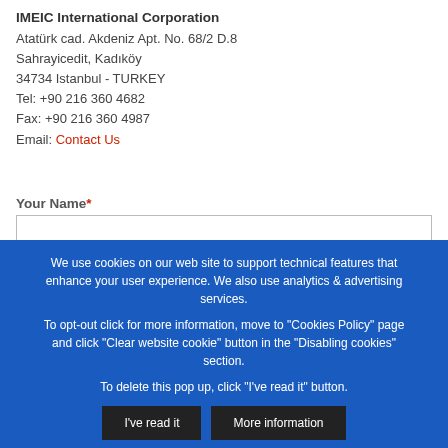IMEIC International Corporation
Atatürk cad. Akdeniz Apt. No. 68/2 D.8
Sahrayicedit, Kadıköy
34734 Istanbul - TURKEY
Tel: +90 216 360 4682
Fax: +90 216 360 4987
Email: Contact Us
Your Name*
Company Name*
Your Email*
Phone*
We use cookies on our web site to support technical features that enhance your user experience. We also use analytics & advertising services.

To opt-out click for more information, move to "Cookies Policy" page and click "Clear website cookie" button in the "Disabling cookies" section.

To delete this pop up, click "I've read it" button.
I've read it
More information